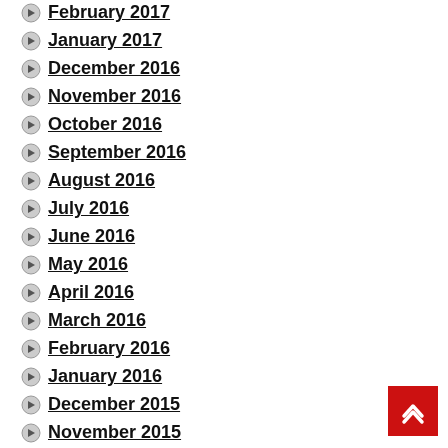February 2017
January 2017
December 2016
November 2016
October 2016
September 2016
August 2016
July 2016
June 2016
May 2016
April 2016
March 2016
February 2016
January 2016
December 2015
November 2015
October 2015
September 2015
August 2015
July 2015